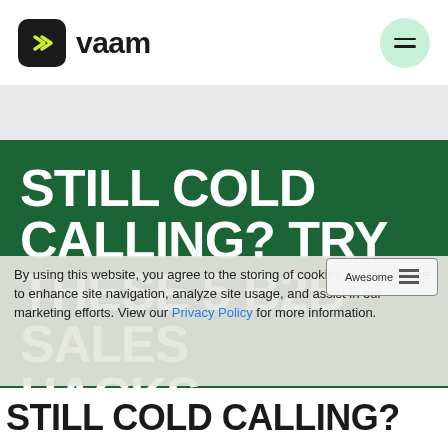[Figure (logo): Vaam logo: dark rounded square icon with yellow chevron/play arrow, followed by bold text 'vaam']
STILL COLD CALLING? TRY THESE 5 B2B SALES HACKS INSTEAD
By using this website, you agree to the storing of cookies on your device to enhance site navigation, analyze site usage, and assist in our marketing efforts. View our Privacy Policy for more information.
STILL COLD CALLING?